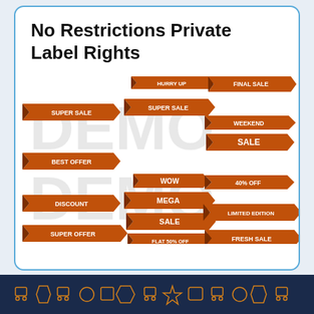No Restrictions Private Label Rights
[Figure (illustration): Collection of orange and dark red ribbon sale banners with text labels: SUPER SALE, HURRY UP, FINAL SALE, BEST OFFER, SUPER SALE, WEEKEND SALE, DISCOUNT, WOW, 40% OFF, MEGA SALE, LIMITED EDITION, SUPER OFFER, FLAT 50% OFF, FRESH SALE — overlaid with DEMO watermark text]
Footer icon bar with shopping/commerce icons on dark navy background